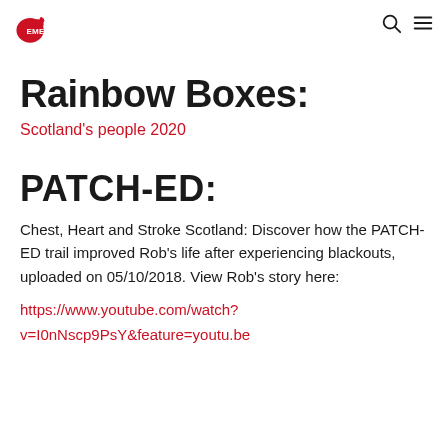EMERGE
Rainbow Boxes:
Scotland's people 2020
PATCH-ED:
Chest, Heart and Stroke Scotland: Discover how the PATCH-ED trail improved Rob's life after experiencing blackouts, uploaded on 05/10/2018. View Rob's story here:
https://www.youtube.com/watch?v=I0nNscp9PsY&feature=youtu.be